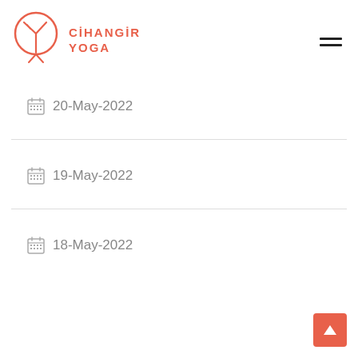[Figure (logo): Cihangir Yoga logo: a circular tree/leaf icon in coral/salmon color with the text CİHANGİR YOGA to the right]
20-May-2022
19-May-2022
18-May-2022